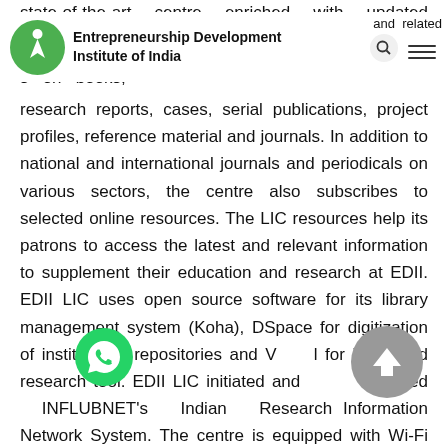[Figure (logo): Entrepreneurship Development Institute of India logo with green circle and upward arrow figure]
state-of-the-art centre enriched with updated information and related s on books, research reports, cases, serial publications, project profiles, reference material and journals. In addition to national and international journals and periodicals on various sectors, the centre also subscribes to selected online resources. The LIC resources help its patrons to access the latest and relevant information to supplement their education and research at EDII. EDII LIC uses open source software for its library management system (Koha), DSpace for digitization of institutional repositories and V for integrated research tool. EDII LIC initiated and mented INFLUBNET's Indian Research Information Network System. The centre is equipped with Wi-Fi connectivity, too.
[Figure (other): WhatsApp contact button (green circle with phone icon)]
[Figure (other): Back to top button (grey circle with upward chevron)]